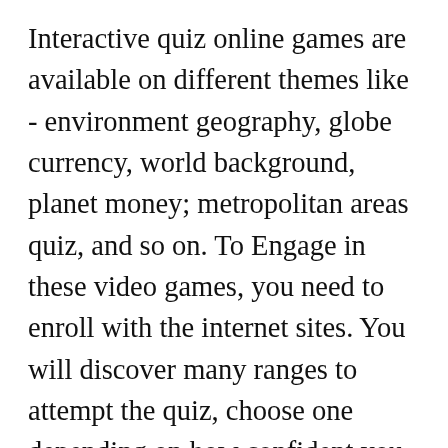Interactive quiz online games are available on different themes like - environment geography, globe currency, world background, planet money; metropolitan areas quiz, and so on. To Engage in these video games, you need to enroll with the internet sites. You will discover many ranges to attempt the quiz, choose one depending on how confident you happen to be within your expertise. When you are using the quiz for the first time, it is always much better to start from the basic amount and afterwards move ahead to the very best types. This offers you an concept about what kinds of queries to assume at the next